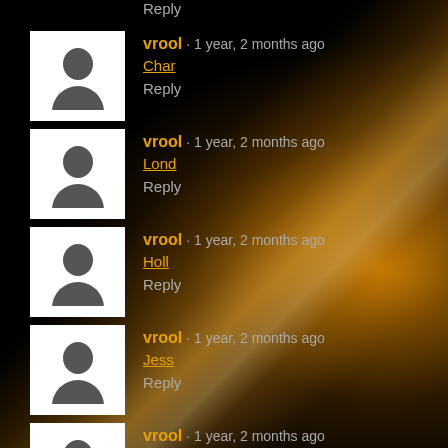Reply
vrool · 1 year, 2 months ago
Char
Reply
vrool · 1 year, 2 months ago
Lond
Reply
vrool · 1 year, 2 months ago
Holl
Reply
vrool · 1 year, 2 months ago
Jess
Reply
vrool · 1 year, 2 months ago
Vale
Reply